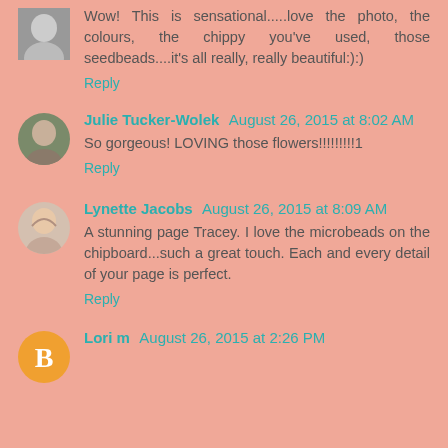[Figure (photo): Small grayscale avatar photo of a person in top-left corner]
Wow! This is sensational.....love the photo, the colours, the chippy you've used, those seedbeads....it's all really, really beautiful:):)
Reply
[Figure (photo): Small color photo avatar of Julie Tucker-Wolek]
Julie Tucker-Wolek August 26, 2015 at 8:02 AM
So gorgeous! LOVING those flowers!!!!!!!!!1
Reply
[Figure (photo): Small color photo avatar of Lynette Jacobs]
Lynette Jacobs August 26, 2015 at 8:09 AM
A stunning page Tracey. I love the microbeads on the chipboard...such a great touch. Each and every detail of your page is perfect.
Reply
[Figure (logo): Orange circle Blogger icon for Lori m]
Lori m August 26, 2015 at 2:26 PM